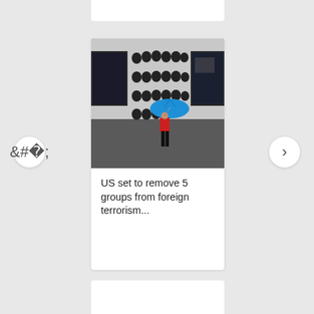[Figure (photo): A person in a red jacket walking past a building wall mural showing many portrait faces in black and white stencil art, holding a bright blue umbrella. Two dark-framed windows visible on the building facade.]
US set to remove 5 groups from foreign terrorism...